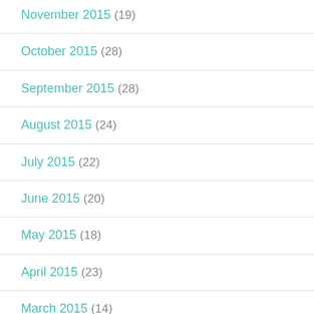November 2015 (19)
October 2015 (28)
September 2015 (28)
August 2015 (24)
July 2015 (22)
June 2015 (20)
May 2015 (18)
April 2015 (23)
March 2015 (14)